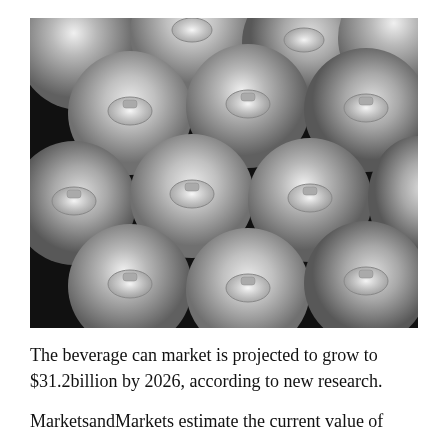[Figure (photo): Black and white overhead photo of many aluminium beverage cans packed together, showing their pull-tab tops.]
The beverage can market is projected to grow to $31.2billion by 2026, according to new research.
MarketsandMarkets estimate the current value of